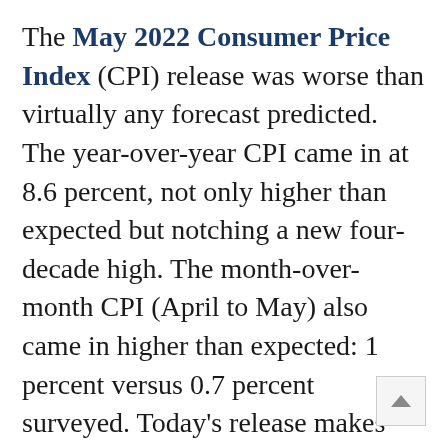The May 2022 Consumer Price Index (CPI) release was worse than virtually any forecast predicted. The year-over-year CPI came in at 8.6 percent, not only higher than expected but notching a new four-decade high. The month-over-month CPI (April to May) also came in higher than expected: 1 percent versus 0.7 percent surveyed. Today's release makes clear that the Fed is behind the curve in terms of employing policy measures to blunt the rise in prices. The response from the Biden Administration, meanwhile, has been to blame Vladimir Putin (an easily disproved assertion) and weaponize rising prices